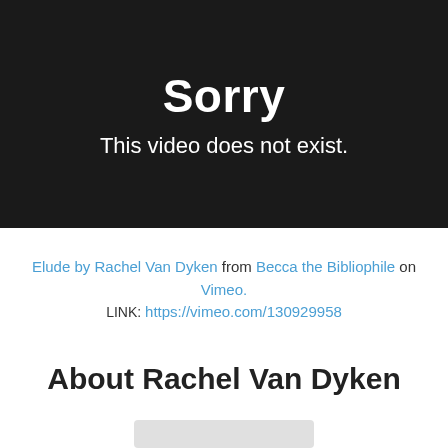[Figure (screenshot): Black video player error screen showing 'Sorry' and 'This video does not exist.']
Elude by Rachel Van Dyken from Becca the Bibliophile on Vimeo.
LINK: https://vimeo.com/130929958
About Rachel Van Dyken